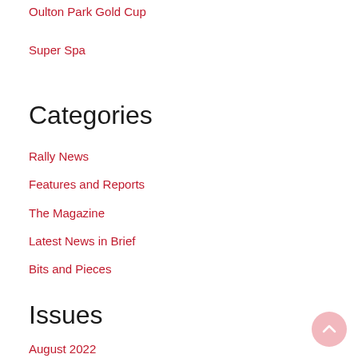Oulton Park Gold Cup
Super Spa
Categories
Rally News
Features and Reports
The Magazine
Latest News in Brief
Bits and Pieces
Issues
August 2022